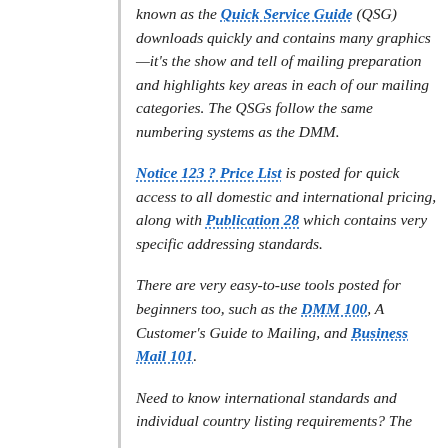known as the Quick Service Guide (QSG) downloads quickly and contains many graphics—it's the show and tell of mailing preparation and highlights key areas in each of our mailing categories. The QSGs follow the same numbering systems as the DMM.
Notice 123 ? Price List is posted for quick access to all domestic and international pricing, along with Publication 28 which contains very specific addressing standards.
There are very easy-to-use tools posted for beginners too, such as the DMM 100, A Customer's Guide to Mailing, and Business Mail 101.
Need to know international standards and individual country listing requirements? The